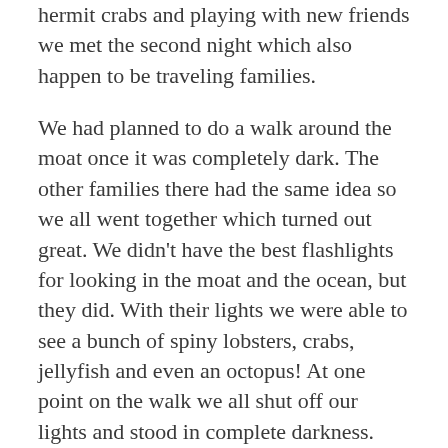hermit crabs and playing with new friends we met the second night which also happen to be traveling families.
We had planned to do a walk around the moat once it was completely dark. The other families there had the same idea so we all went together which turned out great. We didn't have the best flashlights for looking in the moat and the ocean, but they did. With their lights we were able to see a bunch of spiny lobsters, crabs, jellyfish and even an octopus! At one point on the walk we all shut off our lights and stood in complete darkness. The stars were peeking through the clouds and the bioluminescent organisms in the water sparkled and made the water appear to also have stars. It was one of the coolest things I have ever seen.